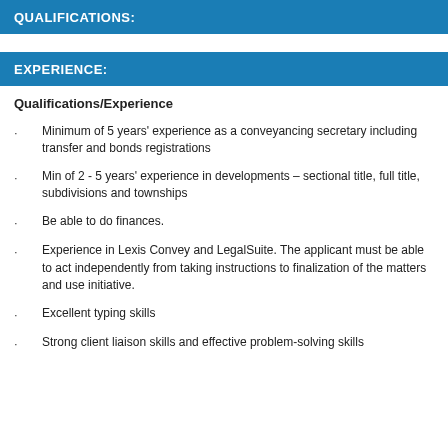QUALIFICATIONS:
EXPERIENCE:
Qualifications/Experience
Minimum of 5 years' experience as a conveyancing secretary including transfer and bonds registrations
Min of 2 - 5 years' experience in developments – sectional title, full title, subdivisions and townships
Be able to do finances.
Experience in Lexis Convey and LegalSuite. The applicant must be able to act independently from taking instructions to finalization of the matters and use initiative.
Excellent typing skills
Strong client liaison skills and effective problem-solving skills